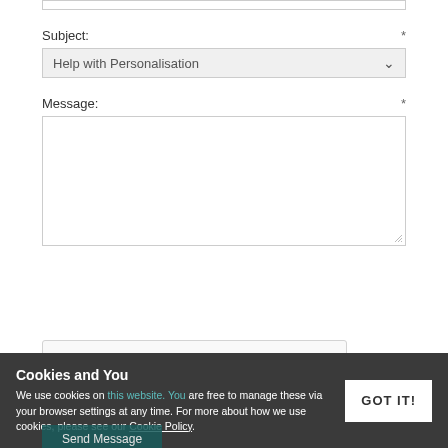Subject: *
[Figure (screenshot): Dropdown select box showing 'Help with Personalisation' with a chevron icon]
Message: *
[Figure (screenshot): Empty textarea message input box]
[Figure (screenshot): reCAPTCHA widget with checkbox 'I'm not a robot' and reCAPTCHA logo with Privacy and Terms links]
Cookies and You
We use cookies on this website. You are free to manage these via your browser settings at any time. For more about how we use cookies, please see our Cookie Policy.